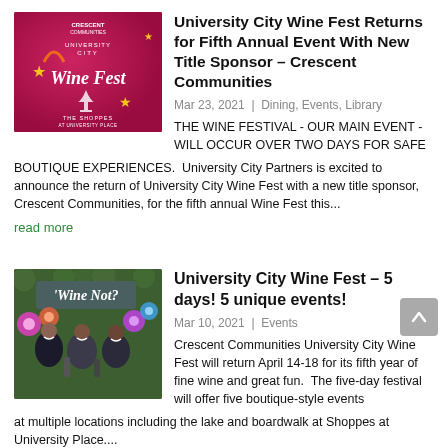[Figure (photo): University City Wine Fest promotional image with pink/red background, Crescent Communities logo, wine glass graphic, and festive text including 'Wine Fest', 'The Shoppes', 'University Place']
University City Wine Fest Returns for Fifth Annual Event With New Title Sponsor – Crescent Communities
Mar 23, 2021 | Dining, Events, Library
THE WINE FESTIVAL - OUR MAIN EVENT - WILL OCCUR OVER TWO DAYS FOR SAFE BOUTIQUE EXPERIENCES.  University City Partners is excited to announce the return of University City Wine Fest with a new title sponsor, Crescent Communities, for the fifth annual Wine Fest this...
read more
[Figure (photo): Photo of three women smiling, posing in front of a floral wall decorated with colorful flowers and a 'Wine Not?' sign at University City Wine Fest]
University City Wine Fest – 5 days! 5 unique events!
Mar 10, 2021 | Events
Crescent Communities University City Wine Fest will return April 14-18 for its fifth year of fine wine and great fun.  The five-day festival will offer five boutique-style events at multiple locations including the lake and boardwalk at Shoppes at University Place....